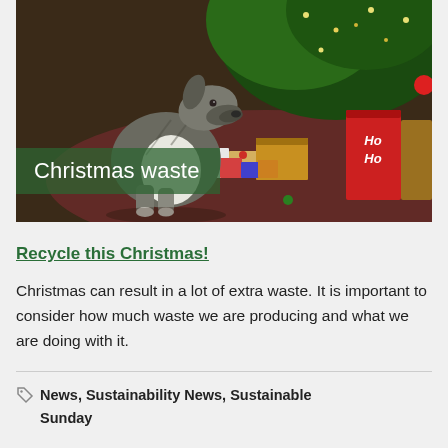[Figure (photo): A dog (greyhound/whippet type) sitting in front of a Christmas tree surrounded by wrapped gifts and packages. A red gift bag with 'Ho Ho' text is visible on the right. The scene has warm holiday lighting with fairy lights in the tree.]
Christmas waste
Recycle this Christmas!
Christmas can result in a lot of extra waste. It is important to consider how much waste we are producing and what we are doing with it.
News, Sustainability News, Sustainable Sunday